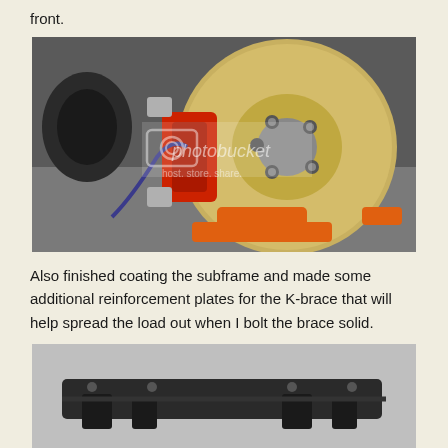front.
[Figure (photo): Car brake rotor and red caliper mounted on suspension, supported by an orange floor jack on a concrete garage floor. Photobucket watermark visible.]
Also finished coating the subframe and made some additional reinforcement plates for the K-brace that will help spread the load out when I bolt the brace solid.
[Figure (photo): Subframe and black reinforcement plates laid out on a gray surface/cloth, partially visible at bottom of page.]